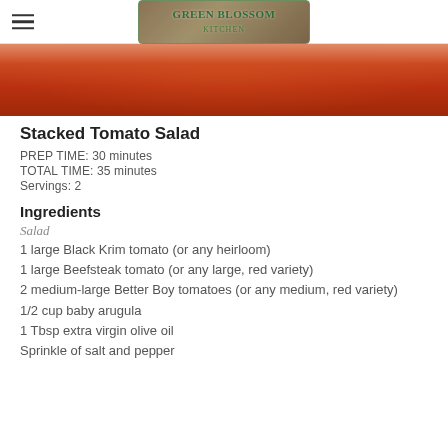[Figure (logo): Green Blossom kitchen logo on wooden plank background with green border]
[Figure (photo): Close-up photo of stacked red tomatoes on a white plate, partly cropped at top]
Stacked Tomato Salad
PREP TIME: 30 minutes
TOTAL TIME: 35 minutes
Servings: 2
Ingredients
Salad
1 large Black Krim tomato (or any heirloom)
1 large Beefsteak tomato (or any large, red variety)
2 medium-large Better Boy tomatoes (or any medium, red variety)
1/2 cup baby arugula
1 Tbsp extra virgin olive oil
Sprinkle of salt and pepper